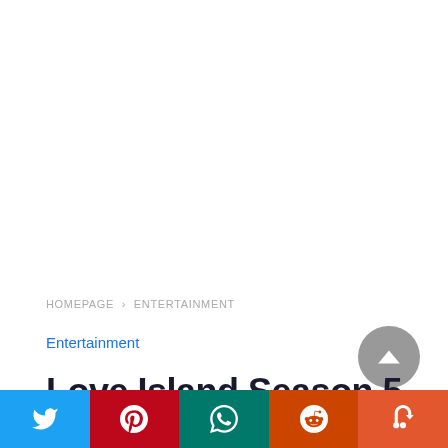HOMEPAGE › ENTERTAINMENT
Entertainment
Love Island Season 5
[Figure (infographic): Social share bar with Twitter, Pinterest, WhatsApp, Reddit, StumbleUpon buttons]